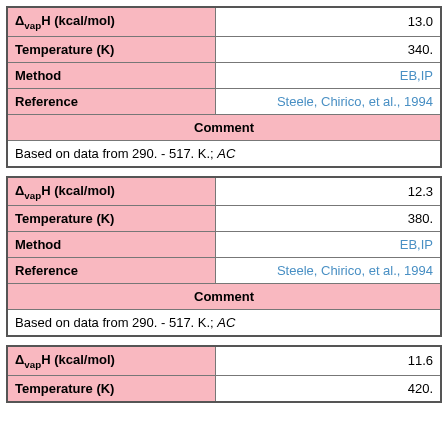| Property | Value |
| --- | --- |
| Δvap H (kcal/mol) | 13.0 |
| Temperature (K) | 340. |
| Method | EB,IP |
| Reference | Steele, Chirico, et al., 1994 |
| Comment |  |
| Based on data from 290. - 517. K.; AC |  |
| Property | Value |
| --- | --- |
| Δvap H (kcal/mol) | 12.3 |
| Temperature (K) | 380. |
| Method | EB,IP |
| Reference | Steele, Chirico, et al., 1994 |
| Comment |  |
| Based on data from 290. - 517. K.; AC |  |
| Property | Value |
| --- | --- |
| Δvap H (kcal/mol) | 11.6 |
| Temperature (K) | 420. |